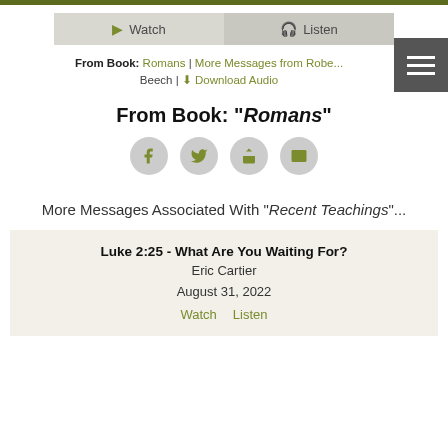[Figure (screenshot): Navigation buttons row with Watch (play icon) and Listen (headphone icon) buttons in light grey]
From Book: Romans | More Messages from Robert Beech | Download Audio
From Book: "Romans"
[Figure (infographic): Row of four social sharing icon circles: Facebook, Twitter, Share/forward, Email — all in olive/khaki color on grey circles]
More Messages Associated With "Recent Teachings"...
Luke 2:25 - What Are You Waiting For?
Eric Cartier
August 31, 2022
Watch  Listen